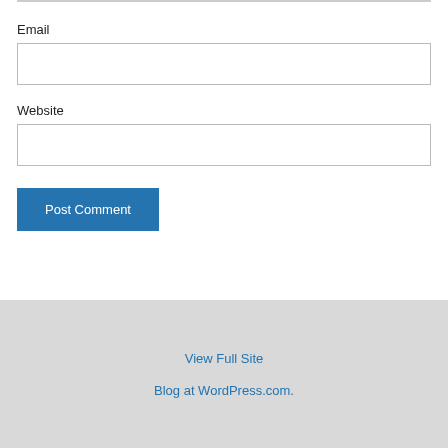Email
Website
Post Comment
View Full Site
Blog at WordPress.com.